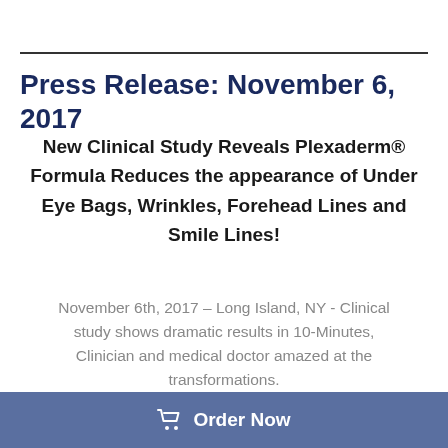Press Release: November 6, 2017
New Clinical Study Reveals Plexaderm® Formula Reduces the appearance of Under Eye Bags, Wrinkles, Forehead Lines and Smile Lines!
November 6th, 2017 – Long Island, NY - Clinical study shows dramatic results in 10-Minutes, Clinician and medical doctor amazed at the transformations.
The clinical results demonstrate that Plexaderm
Order Now